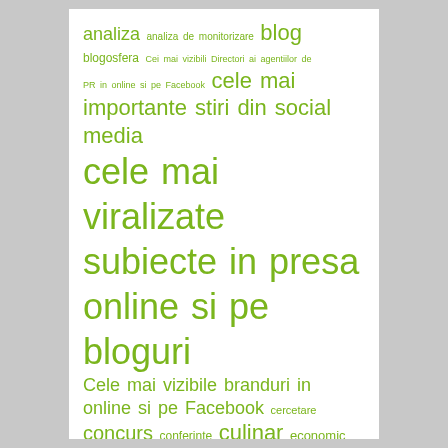[Figure (infographic): Word cloud in green colors on white background featuring Romanian social media and monitoring related terms. Largest words: 'cele mai viralizate subiecte in presa online si pe bloguri', 'stirile din social media', 'social media', 'monitorizare', 'instagram', 'Facebook', 'retrospectiva', 'stiri', 'viralizare', 'vizibilitate', and many smaller terms.]